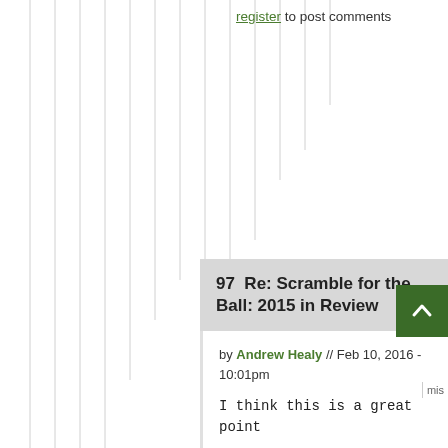register to post comments
97   Re: Scramble for the Ball: 2015 in Review
by Andrew Healy // Feb 10, 2016 - 10:01pm
I think this is a great point